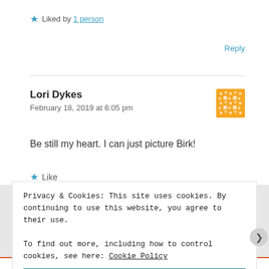★ Liked by 1 person
Reply
Lori Dykes
February 18, 2019 at 6:05 pm
Be still my heart. I can just picture Birk!
★ Like
Privacy & Cookies: This site uses cookies. By continuing to use this website, you agree to their use.
To find out more, including how to control cookies, see here: Cookie Policy
Close and accept